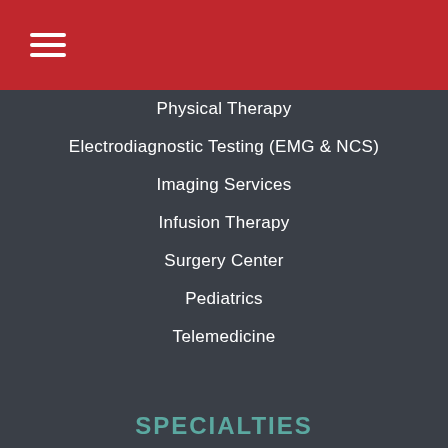☰
Physical Therapy
Electrodiagnostic Testing (EMG & NCS)
Imaging Services
Infusion Therapy
Surgery Center
Pediatrics
Telemedicine
SPECIALTIES
Hand & Wrist
Elbow
Shoulder
Hip
Knee
Foot & Ankle
Neck